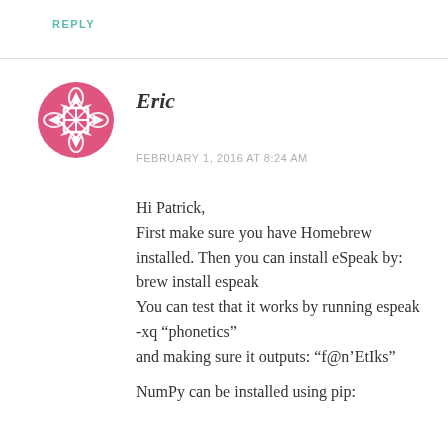REPLY
[Figure (illustration): Pink decorative avatar icon with geometric snowflake/cross pattern]
Eric
FEBRUARY 1, 2016 AT 8:24 AM
Hi Patrick,
First make sure you have Homebrew installed. Then you can install eSpeak by:
brew install espeak
You can test that it works by running espeak -xq “phonetics”
and making sure it outputs: “f@n’EtIks”

NumPy can be installed using pip: